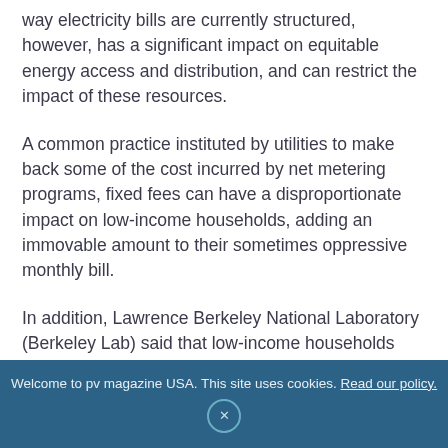way electricity bills are currently structured, however, has a significant impact on equitable energy access and distribution, and can restrict the impact of these resources.
A common practice instituted by utilities to make back some of the cost incurred by net metering programs, fixed fees can have a disproportionate impact on low-income households, adding an immovable amount to their sometimes oppressive monthly bill.
In addition, Lawrence Berkeley National Laboratory (Berkeley Lab) said that low-income households and households of color are far more likely to report losing home heating service, according to recent federal data.
Welcome to pv magazine USA. This site uses cookies. Read our policy.